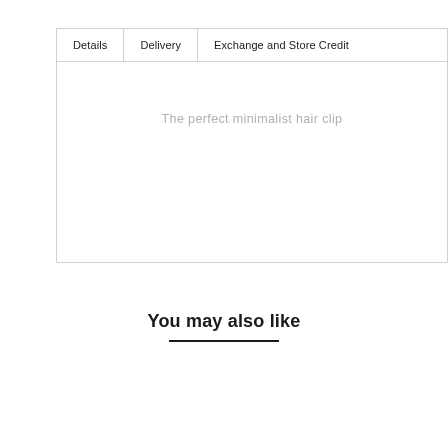| Details | Delivery | Exchange and Store Credit |
| --- | --- | --- |
| The perfect minimalist hair clip |  |  |
You may also like